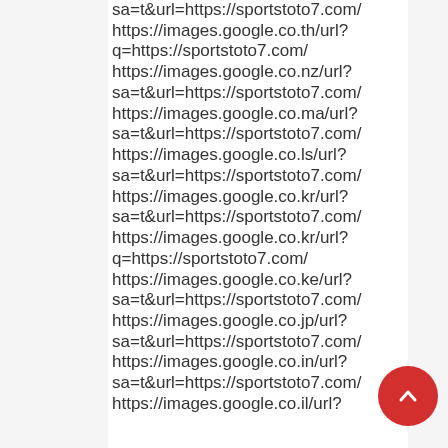sa=t&url=https://sportstoto7.com/
https://images.google.co.th/url?q=https://sportstoto7.com/
https://images.google.co.nz/url?sa=t&url=https://sportstoto7.com/
https://images.google.co.ma/url?sa=t&url=https://sportstoto7.com/
https://images.google.co.ls/url?sa=t&url=https://sportstoto7.com/
https://images.google.co.kr/url?sa=t&url=https://sportstoto7.com/
https://images.google.co.kr/url?q=https://sportstoto7.com/
https://images.google.co.ke/url?sa=t&url=https://sportstoto7.com/
https://images.google.co.jp/url?sa=t&url=https://sportstoto7.com/
https://images.google.co.in/url?sa=t&url=https://sportstoto7.com/
https://images.google.co.il/url?